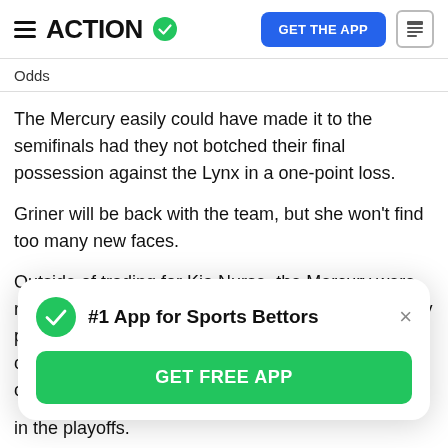ACTION #1 App for Sports Bettors | GET THE APP
Odds
The Mercury easily could have made it to the semifinals had they not botched their final possession against the Lynx in a one-point loss.
Griner will be back with the team, but she won't find too many new faces.
Outside of trading for Kia Nurse, the Mercury were relatively quiet in the offseason. They used their only pick in the draft to select Ciera Johnson at 32nd overall out of Texas A&M, but she's not even listed on the roster at the
[Figure (screenshot): Popup banner: #1 App for Sports Bettors with GET FREE APP green button]
in the playoffs.